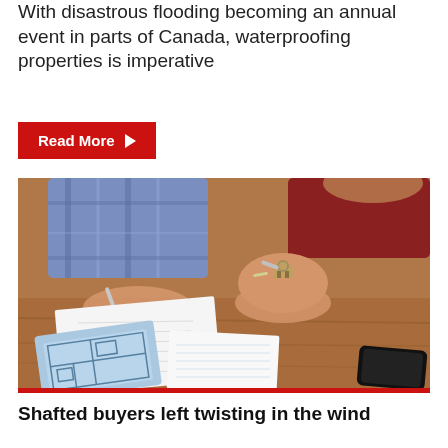With disastrous flooding becoming an annual event in parts of Canada, waterproofing properties is imperative
Read More
[Figure (photo): Two people at a table; one holds house keychain, the other signs documents. A tablet with floor plans, a notebook, and a smartphone are on the wooden table.]
Shafted buyers left twisting in the wind